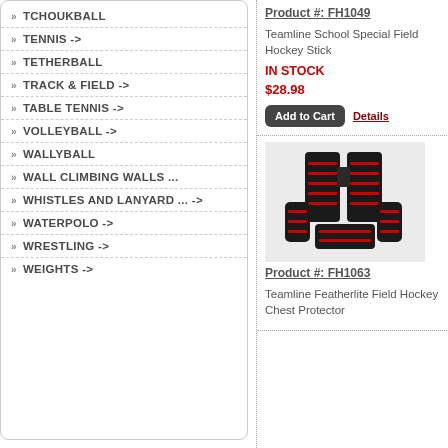TCHOUKBALL
TENNIS ->
TETHERBALL
TRACK & FIELD ->
TABLE TENNIS ->
VOLLEYBALL ->
WALLYBALL
WALL CLIMBING WALLS ...
WHISTLES AND LANYARD ... ->
WATERPOLO ->
WRESTLING ->
WEIGHTS ->
Product #: FH1049
Teamline School Special Field Hockey Stick
IN STOCK
$28.98
Add to Cart   Details
[Figure (photo): Field hockey chest protector equipment - black pads with red accents]
Product #: FH1063
Teamline Featherlite Field Hockey Chest Protector